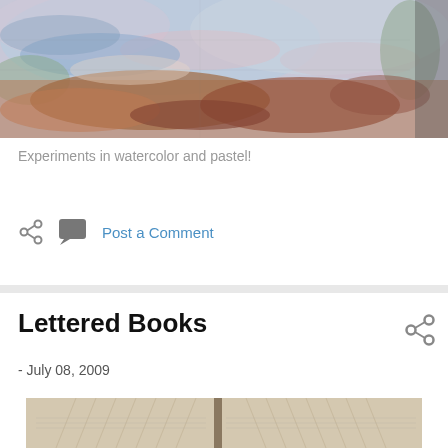[Figure (photo): Watercolor and pastel artwork painting with blue, pink, orange, and brown abstract landscape colors]
Experiments in watercolor and pastel!
[Figure (other): Share icon (less-than with dots) and comment bubble icon followed by Post a Comment link]
Lettered Books
- July 08, 2009
[Figure (photo): Book art with pages folded into patterns, beige and cream tones]